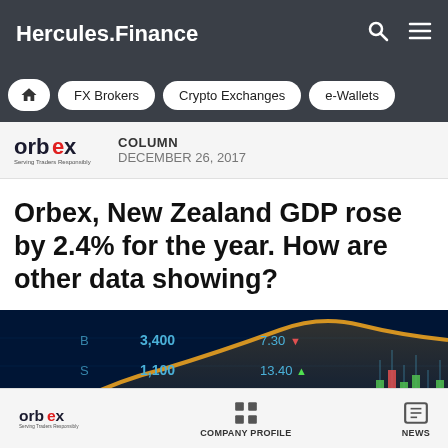Hercules.Finance
FX Brokers | Crypto Exchanges | e-Wallets
COLUMN
DECEMBER 26, 2017
Orbex, New Zealand GDP rose by 2.4% for the year. How are other data showing?
[Figure (photo): Financial trading screen background showing numbers 3,400 / 1,100 / 20,000 / 1,700 and values 7.30 / 13.40 / 25.75 / 1.16 with a golden curve and candlestick chart on a dark blue background.]
orbex  COMPANY PROFILE  NEWS